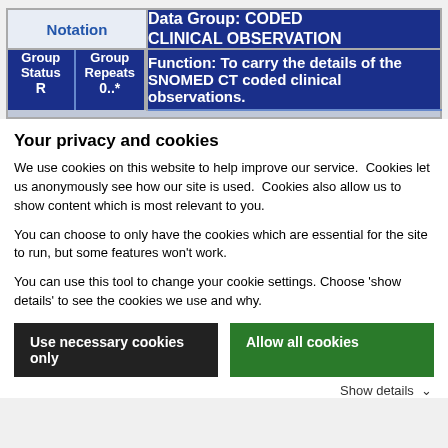| Notation | Data Group: CODED CLINICAL OBSERVATION |
| --- | --- |
| Group Status / Group Repeats / R / 0..* | Function: To carry the details of the SNOMED CT coded clinical observations. |
Your privacy and cookies
We use cookies on this website to help improve our service.  Cookies let us anonymously see how our site is used.  Cookies also allow us to show content which is most relevant to you.
You can choose to only have the cookies which are essential for the site to run, but some features won't work.
You can use this tool to change your cookie settings. Choose 'show details' to see the cookies we use and why.
Use necessary cookies only | Allow all cookies
Show details